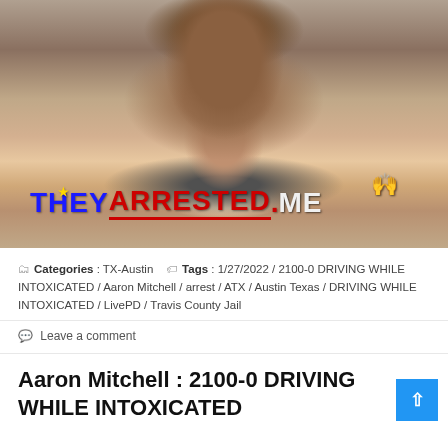[Figure (photo): Mugshot of Aaron Mitchell with long hair and beard wearing a dark jacket, with THEYARRESTED.ME watermark logo overlaid on the lower portion of the photo]
Categories : TX-Austin   Tags : 1/27/2022 / 2100-0 DRIVING WHILE INTOXICATED / Aaron Mitchell / arrest / ATX / Austin Texas / DRIVING WHILE INTOXICATED / LivePD / Travis County Jail
Leave a comment
Aaron Mitchell : 2100-0 DRIVING WHILE INTOXICATED